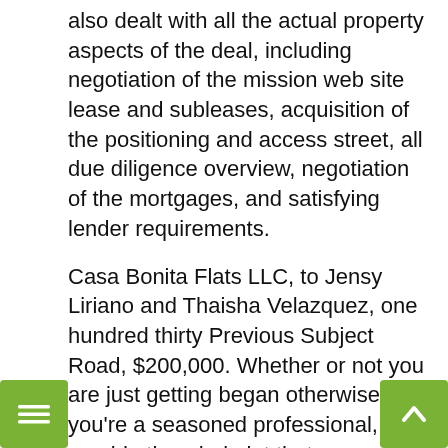also dealt with all the actual property aspects of the deal, including negotiation of the mission web site lease and subleases, acquisition of the positioning and access street, all due diligence overview, negotiation of the mortgages, and satisfying lender requirements.
Casa Bonita Flats LLC, to Jensy Liriano and Thaisha Velazquez, one hundred thirty Previous Subject Road, $200,000. Whether or not you are just getting began otherwise you're a seasoned professional, we provide the whole lot that you must full your CE and get forward in your actual property profession.
You don't have to be a real estate professional to have heard of launch agreements. Represented an arts organization and its associates within the $40 million acquisition and rehabilitation of an approximately 800,000 square foot construction in